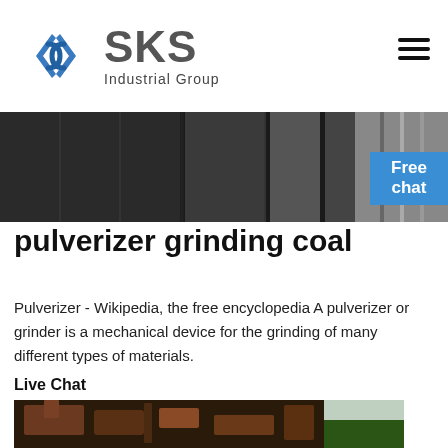[Figure (logo): SKS Industrial Group logo with blue diamond/arrow icon and gray text]
[Figure (photo): Dark industrial machinery banner image with corrugated metal surfaces]
[Figure (photo): Blue 'Free chat' button overlay with person image in top right]
pulverizer grinding coal
Pulverizer - Wikipedia, the free encyclopedia A pulverizer or grinder is a mechanical device for the grinding of many different types of materials.
Live Chat
[Figure (photo): Photo of a rusty industrial pulverizer/grinding machine outdoors with trees in background]